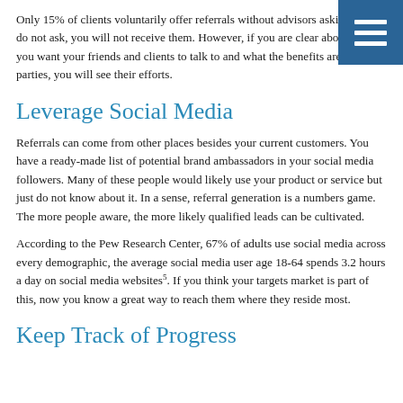Only 15% of clients voluntarily offer referrals without advisors asking. If you do not ask, you will not receive them. However, if you are clear about who you want your friends and clients to talk to and what the benefits are to all parties, you will see their efforts.
Leverage Social Media
Referrals can come from other places besides your current customers. You have a ready-made list of potential brand ambassadors in your social media followers. Many of these people would likely use your product or service but just do not know about it. In a sense, referral generation is a numbers game. The more people aware, the more likely qualified leads can be cultivated.
According to the Pew Research Center, 67% of adults use social media across every demographic, the average social media user age 18-64 spends 3.2 hours a day on social media websites⁵. If you think your targets market is part of this, now you know a great way to reach them where they reside most.
Keep Track of Progress